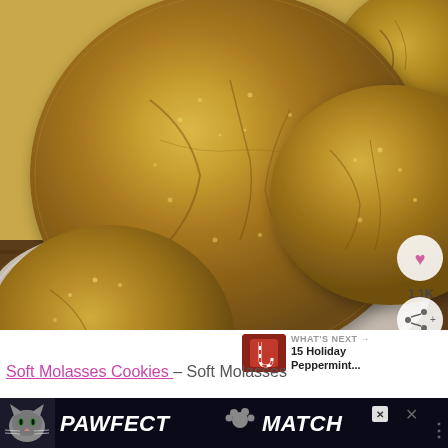[Figure (photo): Close-up photo of soft molasses cookies on a white plate over a wooden surface, with social sharing buttons (heart icon showing 1.1K) on the right side]
WHAT'S NEXT → 15 Holiday Peppermint...
Soft Molasses Cookies – Soft Molasses
[Figure (screenshot): PAWFECT MATCH advertisement banner with cat image, close button, and X icons]